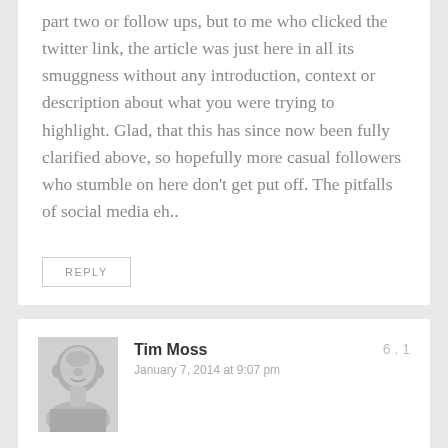part two or follow ups, but to me who clicked the twitter link, the article was just here in all its smuggness without any introduction, context or description about what you were trying to highlight. Glad, that this has since now been fully clarified above, so hopefully more casual followers who stumble on here don't get put off. The pitfalls of social media eh..
REPLY
Tim Moss
January 7, 2014 at 9:07 pm
6.1
Hey Andy
Really glad you came back. Thank you.
Quite understand your response. My blog